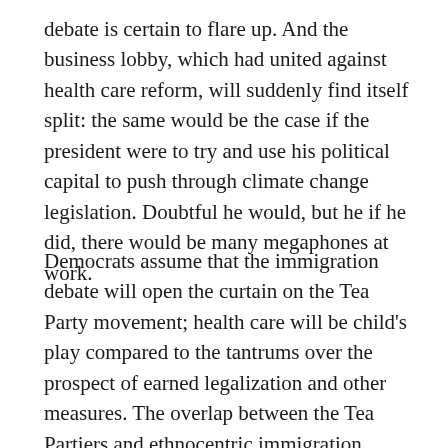debate is certain to flare up. And the business lobby, which had united against health care reform, will suddenly find itself split: the same would be the case if the president were to try and use his political capital to push through climate change legislation. Doubtful he would, but he if he did, there would be many megaphones at work.
Democrats assume that the immigration debate will open the curtain on the Tea Party movement; health care will be child's play compared to the tantrums over the prospect of earned legalization and other measures. The overlap between the Tea Partiers and ethnocentric immigration restrictionists is huge, and even many Republicans